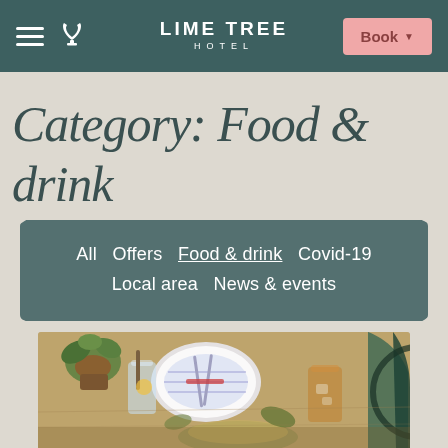LIME TREE HOTEL — Book
Category: Food & drink
All  Offers  Food & drink  Covid-19  Local area  News & events
[Figure (photo): Overhead/close-up photo of a restaurant table setting with drinks, plates, cutlery, potted plant, and food at the Lime Tree Hotel]